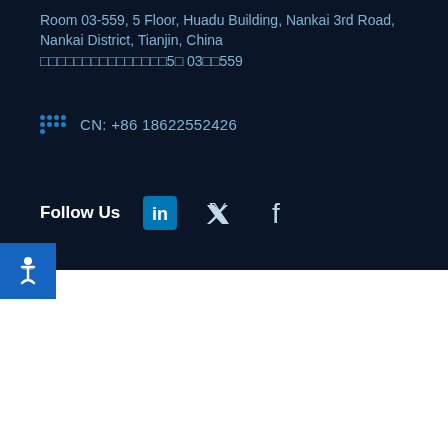Room 03-559, 5 Floor, Huadu Building, Nankai 3rd Road, Nankai District, Tianjin, China
□□□□□□□□□□□□□□□5□ 03□□559
CN: +86 18622552426
Follow Us
[Figure (logo): Accessibility icon (wheelchair symbol) on blue background]
[Figure (illustration): Large blue circle decorative element overlapping the dark and white sections]
©2022 Queue Associates
All Microsoft content modeled for pages of this website, as well as images, video content and downloadable materials from Microsoft are Copyright ©1975 - 2022 Microsoft®. All Rights Reserved.
Web site by Mitra Creative
[Figure (logo): Google reCAPTCHA logo with Privacy and Terms links]